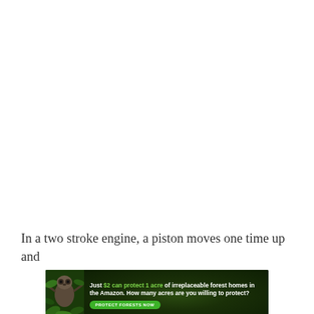In a two stroke engine, a piston moves one time up and
[Figure (infographic): Advertisement banner for Amazon forest protection. Dark green background with sloth image on left. Text reads: 'Just $2 can protect 1 acre of irreplaceable forest homes in the Amazon. How many acres are you willing to protect?' with a green 'PROTECT FORESTS NOW' button.]